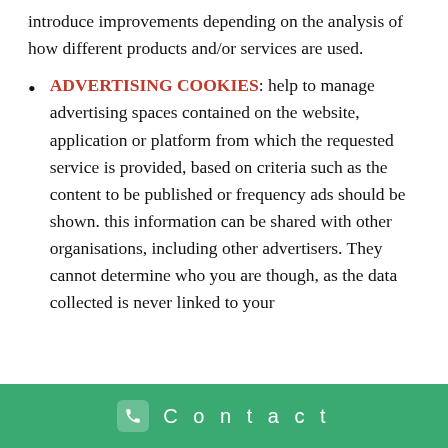introduce improvements depending on the analysis of how different products and/or services are used.
ADVERTISING COOKIES: help to manage advertising spaces contained on the website, application or platform from which the requested service is provided, based on criteria such as the content to be published or frequency ads should be shown. this information can be shared with other organisations, including other advertisers. They cannot determine who you are though, as the data collected is never linked to your
Contact